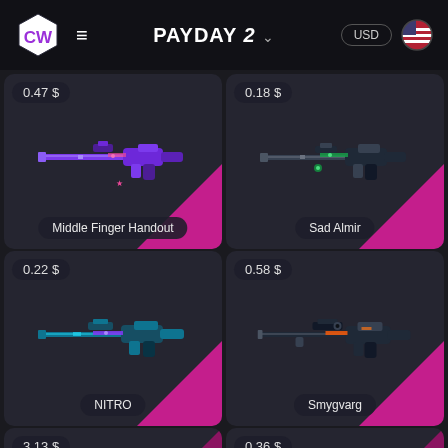CW | PAYDAY 2 | USD
[Figure (screenshot): Game item card: Middle Finger Handout weapon skin, price 0.47 $]
[Figure (screenshot): Game item card: Sad Almir weapon skin, price 0.18 $]
[Figure (screenshot): Game item card: NITRO weapon skin, price 0.22 $]
[Figure (screenshot): Game item card: Smygvarg weapon skin, price 0.58 $]
[Figure (screenshot): Game item card partial: price 3.13 $]
[Figure (screenshot): Game item card partial: price 0.36 $]